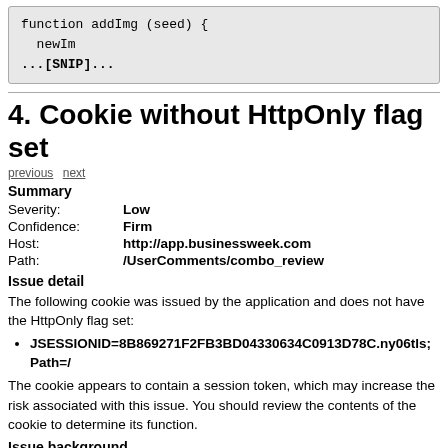[Figure (screenshot): Code block showing function addImg (seed) { newIm ....[SNIP]...]
4. Cookie without HttpOnly flag set
previous  next
Summary
| Severity: | Low |
| Confidence: | Firm |
| Host: | http://app.businessweek.com |
| Path: | /UserComments/combo_review |
Issue detail
The following cookie was issued by the application and does not have the HttpOnly flag set:
JSESSIONID=8B869271F2FB3BD04330634C0913D78C.ny06tls; Path=/
The cookie appears to contain a session token, which may increase the risk associated with this issue. You should review the contents of the cookie to determine its function.
Issue background
If the HttpOnly attribute is set on a cookie, then the cookie which reduces access to